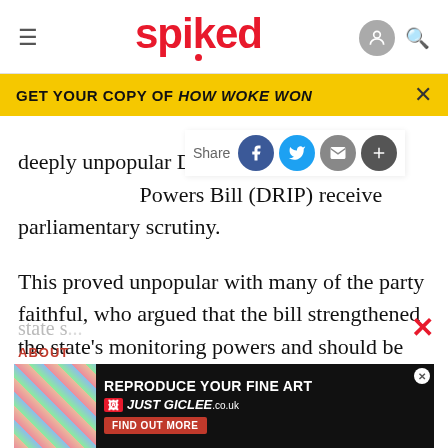spiked
GET YOUR COPY OF HOW WOKE WON
deeply unpopular Data Retention and Investigatory Powers Bill (DRIP) receive parliamentary scrutiny. This proved unpopular with many of the party faithful, who argued that the bill strengthened the state's monitoring powers and should be debated. Now, with the announcement of mandatory body cameras for certain police officers, the Lib Dems are once again showing that their concern for privacy is secondary to their insidious drive towards greater state s...
ABOUT